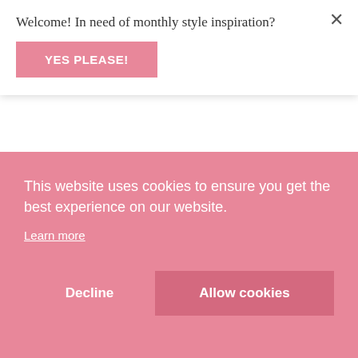Welcome! In need of monthly style inspiration?
YES PLEASE!
Lightweight stretch cloths that don't offer decent skin coverage
Slinky flat fabric (slinky with a rib or texture is ok but if you have heavy cellulite I'd stay away)
Light colours ie. white & blush show off everything! Heavier weights are more flattering
This website uses cookies to ensure you get the best experience on our website.
Learn more
Decline
Allow cookies